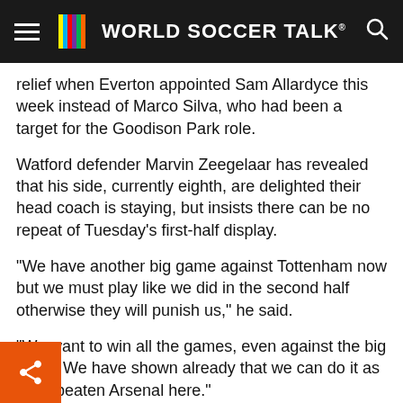WORLD SOCCER TALK
relief when Everton appointed Sam Allardyce this week instead of Marco Silva, who had been a target for the Goodison Park role.
Watford defender Marvin Zeegelaar has revealed that his side, currently eighth, are delighted their head coach is staying, but insists there can be no repeat of Tuesday’s first-half display.
“We have another big game against Tottenham now but we must play like we did in the second half otherwise they will punish us,” he said.
“We want to win all the games, even against the big clubs. We have shown already that we can do it as have beaten Arsenal here.”